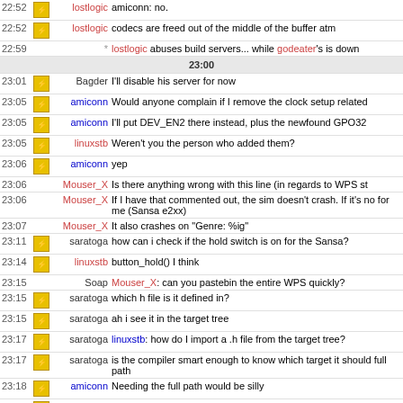| time | icon | nick | message |
| --- | --- | --- | --- |
| 22:52 | icon | lostlogic | amiconn: no. |
| 22:52 | icon | lostlogic | codecs are freed out of the middle of the buffer atm |
| 22:59 |  | * | lostlogic abuses build servers... while godeater's is down |
|  |  | 23:00 |  |
| 23:01 | icon | Bagder | I'll disable his server for now |
| 23:05 | icon | amiconn | Would anyone complain if I remove the clock setup related |
| 23:05 | icon | amiconn | I'll put DEV_EN2 there instead, plus the newfound GPO32 |
| 23:05 | icon | linuxstb | Weren't you the person who added them? |
| 23:06 | icon | amiconn | yep |
| 23:06 |  | Mouser_X | Is there anything wrong with this line (in regards to WPS st |
| 23:06 |  | Mouser_X | If I have that commented out, the sim doesn't crash. If it's no for me (Sansa e2xx) |
| 23:07 |  | Mouser_X | It also crashes on "Genre: %ig" |
| 23:11 | icon | saratoga | how can i check if the hold switch is on for the Sansa? |
| 23:14 | icon | linuxstb | button_hold() I think |
| 23:15 |  | Soap | Mouser_X: can you pastebin the entire WPS quickly? |
| 23:15 | icon | saratoga | which h file is it defined in? |
| 23:15 | icon | saratoga | ah i see it in the target tree |
| 23:17 | icon | saratoga | linuxstb: how do I import a .h file from the target tree? |
| 23:17 | icon | saratoga | is the compiler smart enough to know which target it should full path |
| 23:18 | icon | amiconn | Needing the full path would be silly |
| 23:19 | icon | amiconn | The Makefile sets the include dirs so that the correct .h files |
| 23:20 | icon | amiconn | Target tree is there for reducing #ifdef clutter, not for increa |